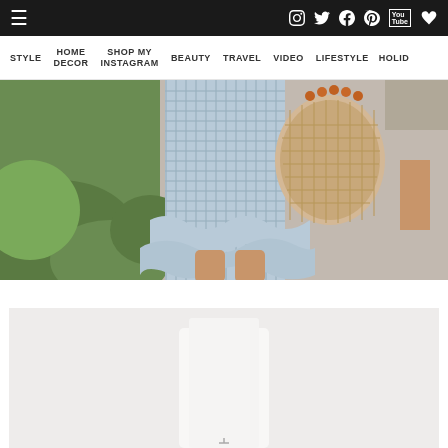Navigation bar with hamburger menu and social icons: Instagram, Twitter, Facebook, Pinterest, YouTube, Heart/Wishlist
STYLE | HOME DECOR | SHOP MY INSTAGRAM | BEAUTY | TRAVEL | VIDEO | LIFESTYLE | HOLID...
[Figure (photo): Fashion blog photo showing a woman wearing a blue gingham ruffled wrap dress and holding a woven straw bag, standing outdoors with greenery in the background]
[Figure (photo): Second product/outfit photo below with light gray/white background, partially visible]